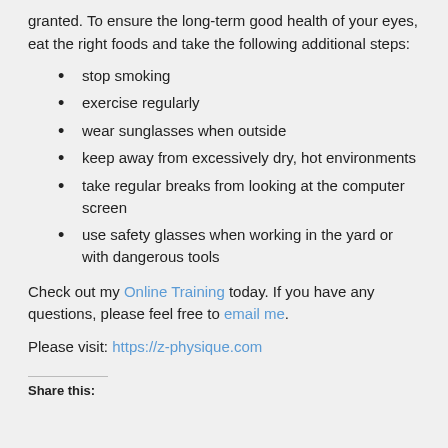granted. To ensure the long-term good health of your eyes, eat the right foods and take the following additional steps:
stop smoking
exercise regularly
wear sunglasses when outside
keep away from excessively dry, hot environments
take regular breaks from looking at the computer screen
use safety glasses when working in the yard or with dangerous tools
Check out my Online Training today. If you have any questions, please feel free to email me.
Please visit: https://z-physique.com
Share this: